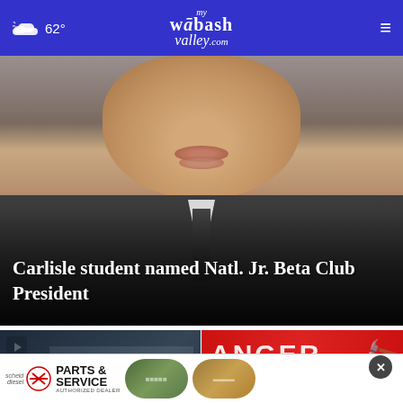mywabashvalley.com — 62° weather header with hamburger menu
[Figure (photo): Close-up photo of a young male student in a dark suit and white shirt, face cropped at nose/chin level, with overlay headline text at bottom]
Carlisle student named Natl. Jr. Beta Club President
[Figure (screenshot): Video thumbnail showing a dark blue screen/presentation area with play button, partial text 'UTHNEST' visible, caption beginning 'Sou...']
[Figure (photo): Video thumbnail showing a red banner sign with text 'ANGER' (part of 'CHANGER') with play button overlay and close X button]
[Figure (logo): Advertisement banner: Scheid Diesel Cummins Parts & Service Authorized Dealer, with two thumbnail images and more indicator]